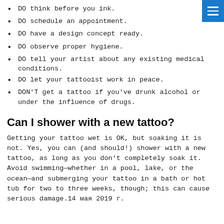DO think before you ink.
DO schedule an appointment.
DO have a design concept ready.
DO observe proper hygiene.
DO tell your artist about any existing medical conditions.
DO let your tattooist work in peace.
DON'T get a tattoo if you've drunk alcohol or under the influence of drugs.
Can I shower with a new tattoo?
Getting your tattoo wet is OK, but soaking it is not. Yes, you can (and should!) shower with a new tattoo, as long as you don't completely soak it. Avoid swimming—whether in a pool, lake, or the ocean—and submerging your tattoo in a bath or hot tub for two to three weeks, though; this can cause serious damage.14 мая 2019 г.